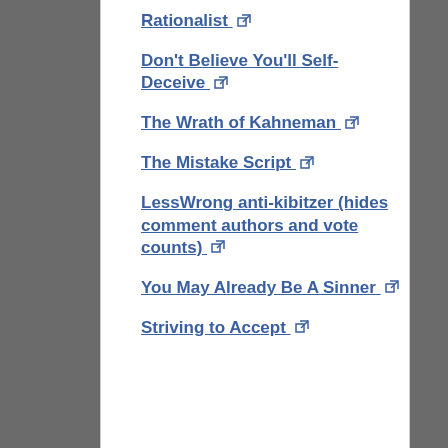Rationalist
Don't Believe You'll Self-Deceive
The Wrath of Kahneman
The Mistake Script
LessWrong anti-kibitzer (hides comment authors and vote counts)
You May Already Be A Sinner
Striving to Accept